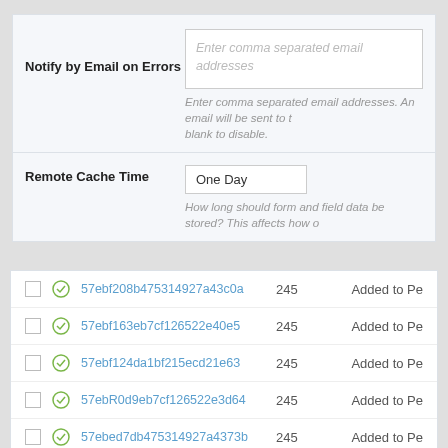Notify by Email on Errors
Enter comma separated email addresses
Enter comma separated email addresses. An email will be sent to t blank to disable.
Remote Cache Time
One Day
How long should form and field data be stored? This affects how o
|  |  | ID | Num | Status |
| --- | --- | --- | --- | --- |
|  |  | 57ebf208b475314927a43c0a | 245 | Added to Pe |
|  |  | 57ebf163eb7cf126522e40e5 | 245 | Added to Pe |
|  |  | 57ebf124da1bf215ecd21e63 | 245 | Added to Pe |
|  |  | 57ebR0d9eb7cf126522e3d64 | 245 | Added to Pe |
|  |  | 57ebed7db475314927a4373b | 245 | Added to Pe |
CRM Logs